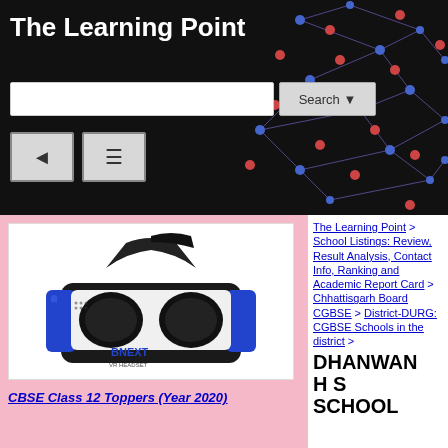The Learning Point
[Figure (screenshot): Website header with network graph background, search bar, and navigation buttons]
[Figure (photo): BNEXT VR Headset product photo on pink background]
CBSE Class 12 Toppers (Year 2020)
The Learning Point > School Listings: Review, Result Analysis, Contact Info, Ranking and Academic Report Card > Chhattisgarh Board CGBSE > District-DURG: CGBSE Schools in the district > DHANWANH S SCHOOL